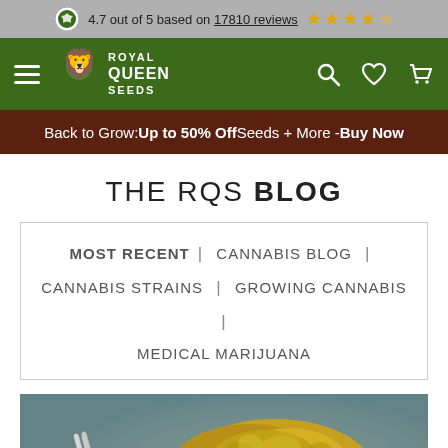4.7 out of 5 based on 17810 reviews ★★★★☆
[Figure (screenshot): Royal Queen Seeds navigation bar with hamburger menu, logo, search, wishlist, and cart icons on green background]
Back to Grow: Up to 50% Off Seeds + More - Buy Now
THE RQS BLOG
MOST RECENT | CANNABIS BLOG | CANNABIS STRAINS | GROWING CANNABIS | MEDICAL MARIJUANA
[Figure (photo): Close-up photo of tweezers holding a golden cannabis bud against a blurred teal background]